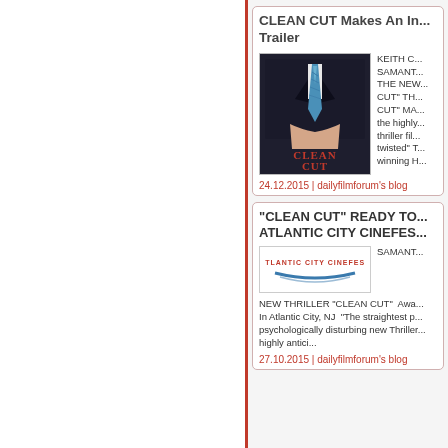CLEAN CUT Makes An In... Trailer
[Figure (photo): Movie poster for CLEAN CUT showing a man in a dark suit with a blue striped tie, with the title CLEAN CUT in red at the bottom]
KEITH C... SAMANT... THE NEW... CUT" TH... CUT" MA... the highly... thriller fil... twisted" T... winning H...
24.12.2015 | dailyfilmforum's blog
"CLEAN CUT" READY TO... ATLANTIC CITY CINEFES...
[Figure (logo): Atlantic City Cinefest logo]
SAMANT... NEW THRILLER "CLEAN CUT"  Awa... In Atlantic City, NJ  "The straightest p... psychologically disturbing new Thriller... highly antici...
27.10.2015 | dailyfilmforum's blog